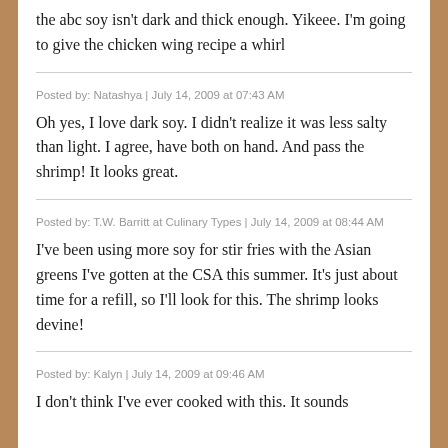the abc soy isn't dark and thick enough. Yikeee. I'm going to give the chicken wing recipe a whirl
Posted by: Natashya | July 14, 2009 at 07:43 AM
Oh yes, I love dark soy. I didn't realize it was less salty than light. I agree, have both on hand. And pass the shrimp! It looks great.
Posted by: T.W. Barritt at Culinary Types | July 14, 2009 at 08:44 AM
I've been using more soy for stir fries with the Asian greens I've gotten at the CSA this summer. It's just about time for a refill, so I'll look for this. The shrimp looks devine!
Posted by: Kalyn | July 14, 2009 at 09:46 AM
I don't think I've ever cooked with this. It sounds